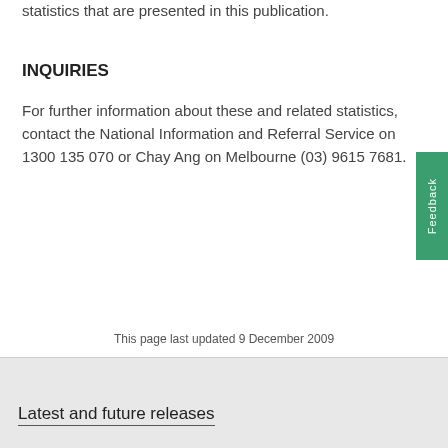statistics that are presented in this publication.
INQUIRIES
For further information about these and related statistics, contact the National Information and Referral Service on 1300 135 070 or Chay Ang on Melbourne (03) 9615 7681.
This page last updated 9 December 2009
Latest and future releases